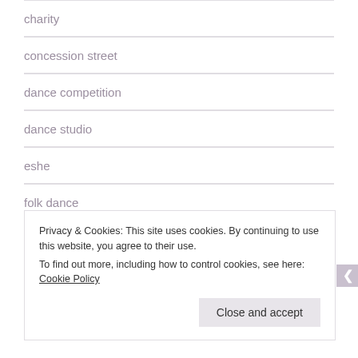charity
concession street
dance competition
dance studio
eshe
folk dance
glitter hamilton
Privacy & Cookies: This site uses cookies. By continuing to use this website, you agree to their use.
To find out more, including how to control cookies, see here: Cookie Policy
Close and accept